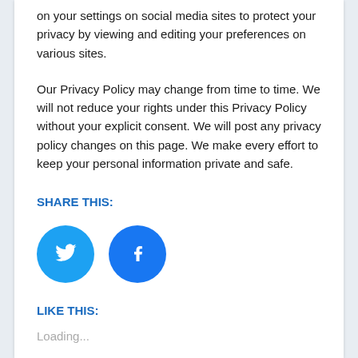on your settings on social media sites to protect your privacy by viewing and editing your preferences on various sites.
Our Privacy Policy may change from time to time. We will not reduce your rights under this Privacy Policy without your explicit consent. We will post any privacy policy changes on this page. We make every effort to keep your personal information private and safe.
SHARE THIS:
[Figure (illustration): Two circular social media share buttons: a light blue Twitter bird icon button and a dark blue Facebook 'f' icon button]
LIKE THIS:
Loading...